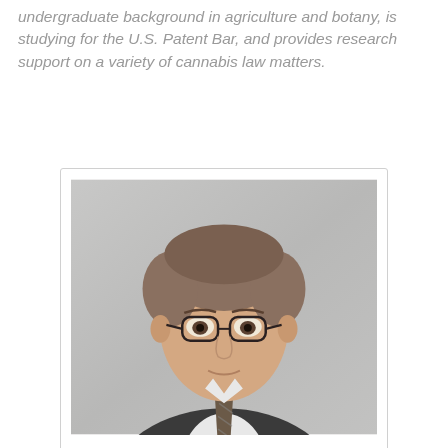undergraduate background in agriculture and botany, is studying for the U.S. Patent Bar, and provides research support on a variety of cannabis law matters.
[Figure (photo): Professional headshot of Zach Holdsman, a young man with brown hair wearing glasses and a dark suit with a striped tie, against a gray background.]
Zach Holdsman of Montgomery McCracken Walker & Rhoads LLP